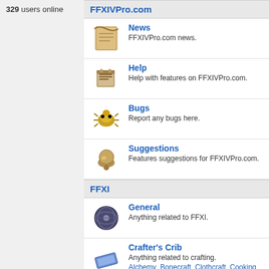329 users online
FFXIVPro.com
News - FFXIVPro.com news.
Help - Help with features on FFXIVPro.com.
Bugs - Report any bugs here.
Suggestions - Features suggestions for FFXIVPro.com.
FFXI
General - Anything related to FFXI.
Crafter's Crib - Anything related to crafting. Alchemy Bonecraft Clothcraft Cooking Fishing Leathercraft Smithing Synergy Woodworking
NMs - NMs, HNMs, and BCNMs
Endgame - Sky, Sea, Dynamis, Assault etc. Abyssea Adoulin Ambuscade Campaign Dyn... Legion Magian Trials Odyssey Salvage/Assau... Voidwatch Walk of Echoes